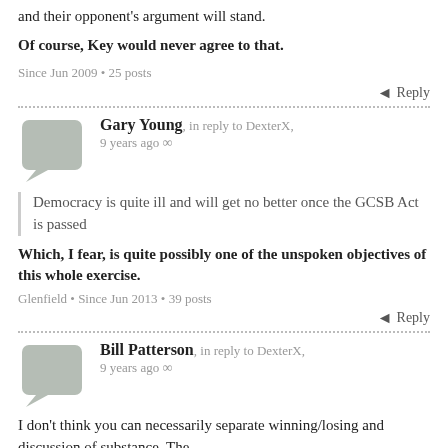and their opponent's argument will stand.
Of course, Key would never agree to that.
Since Jun 2009 • 25 posts
Reply
Gary Young, in reply to DexterX, 9 years ago ∞
Democracy is quite ill and will get no better once the GCSB Act is passed
Which, I fear, is quite possibly one of the unspoken objectives of this whole exercise.
Glenfield • Since Jun 2013 • 39 posts
Reply
Bill Patterson, in reply to DexterX, 9 years ago ∞
I don't think you can necessarily separate winning/losing and discussion of substance. The